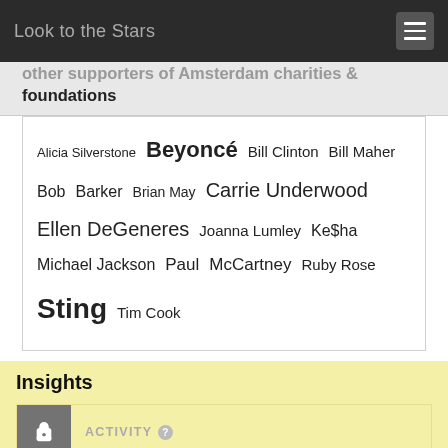Look to the Stars
other supporters of Amsterdam charities & foundations
Alicia Silverstone  Beyoncé  Bill Clinton  Bill Maher  Bob Barker  Brian May  Carrie Underwood  Ellen DeGeneres  Joanna Lumley  Ke$ha  Michael Jackson  Paul McCartney  Ruby Rose  Sting  Tim Cook
Insights
ACTIVITY
SOCIAL REACH
2 related places